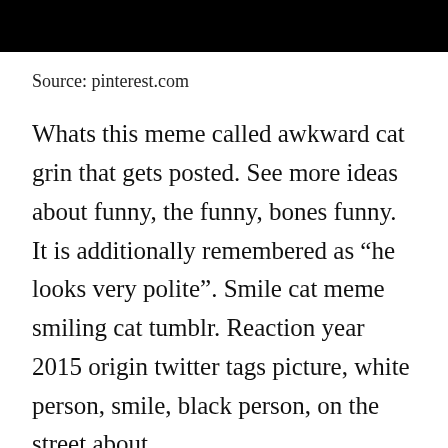[Figure (photo): Black bar at top of page, appearing to be a redacted or cropped image area]
Source: pinterest.com
Whats this meme called awkward cat grin that gets posted. See more ideas about funny, the funny, bones funny. It is additionally remembered as “he looks very polite”. Smile cat meme smiling cat tumblr. Reaction year 2015 origin twitter tags picture, white person, smile, black person, on the street about.